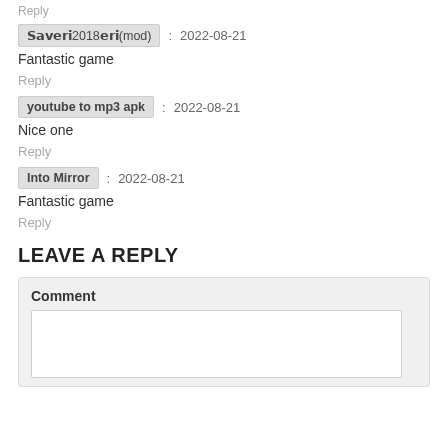Reply
𝗦𝗮𝘃𝗲𝗿𝗶2018𝗲𝗿𝗶(mod)  :  2022-08-21
Fantastic game
Reply
youtube to mp3 apk  :  2022-08-21
Nice one
Reply
Into Mirror  :  2022-08-21
Fantastic game
Reply
LEAVE A REPLY
Comment